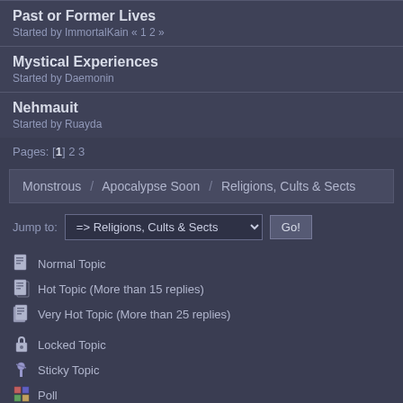Past or Former Lives
Started by ImmortalKain « 1 2 »
Mystical Experiences
Started by Daemonin
Nehmauit
Started by Ruayda
Pages: [1] 2 3
Monstrous / Apocalypse Soon / Religions, Cults & Sects
Jump to: => Religions, Cults & Sects  Go!
Normal Topic
Hot Topic (More than 15 replies)
Very Hot Topic (More than 25 replies)
Locked Topic
Sticky Topic
Poll